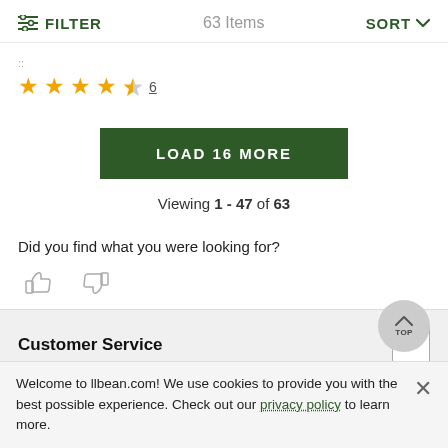FILTER   63 Items   SORT
[Figure (other): Star rating: 4.5 stars with review count 6]
LOAD 16 MORE
Viewing 1 - 47 of 63
Did you find what you were looking for?
[Figure (illustration): Thumbs up and thumbs down icons]
Customer Service
Welcome to llbean.com! We use cookies to provide you with the best possible experience. Check out our privacy policy to learn more.